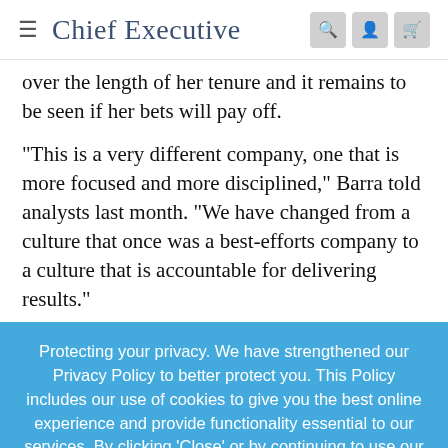Chief Executive
over the length of her tenure and it remains to be seen if her bets will pay off.
“This is a very different company, one that is more focused and more disciplined,” Barra told analysts last month. “We have changed from a culture that once was a best-efforts company to a culture that is accountable for delivering results.”
Protecting your privacy. We have strengthened our Privacy Policy to better protect you. This Policy includes our use of cookies to give you the best online experience and provide functionality essential to our services. By clicking ‘Close’ or by continuing to use our website, you are consenting to our Privacy Policy which can be found here
Accept